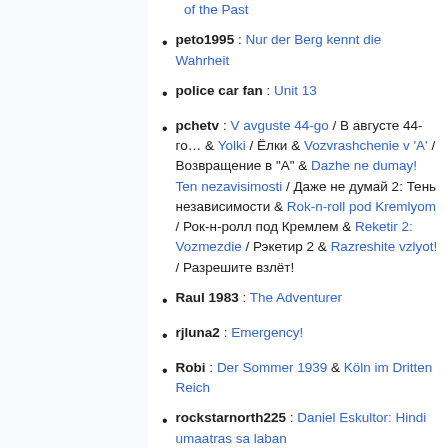of the Past
peto1995 : Nur der Berg kennt die Wahrheit
police car fan : Unit 13
pchetv : V avguste 44-go / В августе 44-го… & Yolki / Ёлки & Vozvrashchenie v 'A' / Возвращение в "A" & Dazhe ne dumay! Ten nezavisimosti / Даже не думай 2: Тень независимости & Rok-n-roll pod Kremlyom / Рок-н-ролл под Кремлем & Reketir 2: Vozmezdie / Рэкетир 2 & Razreshite vzlyot! / Разрешите взлёт!
Raul 1983 : The Adventurer
rjluna2 : Emergency!
Robi : Der Sommer 1939 & Köln im Dritten Reich
rockstarnorth225 : Daniel Eskultor: Hindi umaatras sa laban